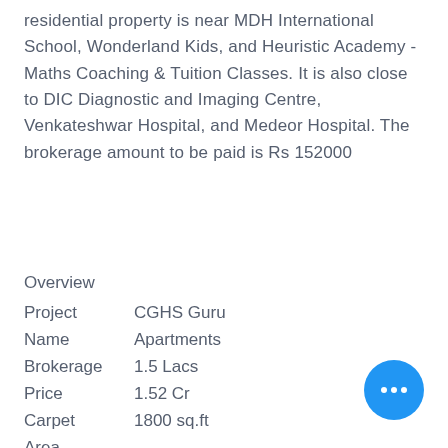residential property is near MDH International School, Wonderland Kids, and Heuristic Academy - Maths Coaching & Tuition Classes. It is also close to DIC Diagnostic and Imaging Centre, Venkateshwar Hospital, and Medeor Hospital. The brokerage amount to be paid is Rs 152000
Overview
| Project Name | CGHS Guru Apartments |
| Brokerage | 1.5 Lacs |
| Price | 1.52 Cr |
| Carpet Area | 1800 sq.ft |
| Bedrooms | 3 |
| Bathroom | 3 |
| S |  |